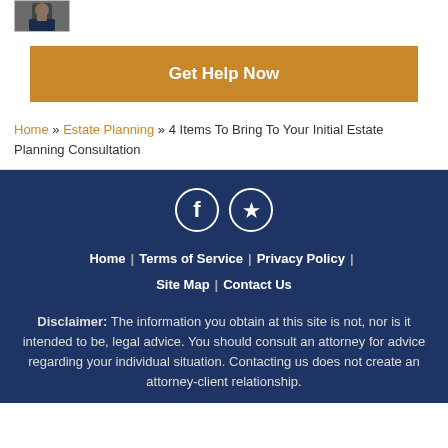[Figure (photo): Profile photo of a person in a suit, partially visible at top]
Get Help Now
Home » Estate Planning » 4 Items To Bring To Your Initial Estate Planning Consultation
Home | Terms of Service | Privacy Policy | Site Map | Contact Us
Disclaimer: The information you obtain at this site is not, nor is it intended to be, legal advice. You should consult an attorney for advice regarding your individual situation. Contacting us does not create an attorney-client relationship.